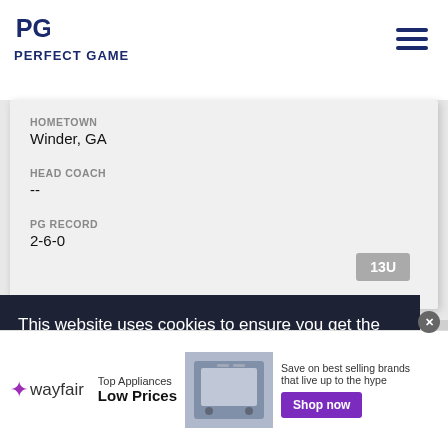PERFECT GAME
HOMETOWN
Winder, GA
HEAD COACH
--
PG RECORD
2-6-0
13U
This website uses cookies to ensure you get the
[Figure (other): Wayfair advertisement banner: Top Appliances Low Prices, Save on best selling brands that live up to the hype, Shop now button]